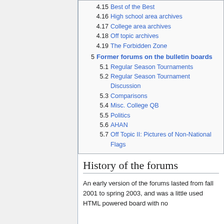4.15 Best of the Best
4.16 High school area archives
4.17 College area archives
4.18 Off topic archives
4.19 The Forbidden Zone
5 Former forums on the bulletin boards
5.1 Regular Season Tournaments
5.2 Regular Season Tournament Discussion
5.3 Comparisons
5.4 Misc. College QB
5.5 Politics
5.6 AHAN
5.7 Off Topic II: Pictures of Non-National Flags
History of the forums
An early version of the forums lasted from fall 2001 to spring 2003, and was a little used HTML powered board with no